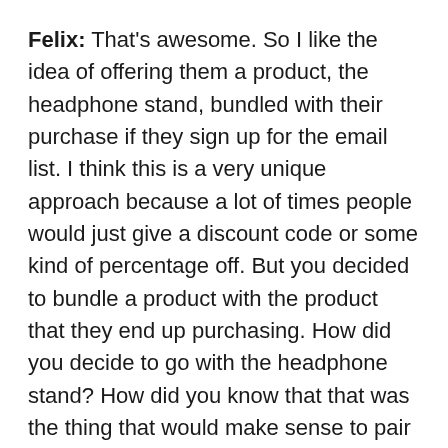Felix: That's awesome. So I like the idea of offering them a product, the headphone stand, bundled with their purchase if they sign up for the email list. I think this is a very unique approach because a lot of times people would just give a discount code or some kind of percentage off. But you decided to bundle a product with the product that they end up purchasing. How did you decide to go with the headphone stand? How did you know that that was the thing that would make sense to pair your purchases with?
Andrew: Yeah, that's a good question. I think we did it because a headphone stand is